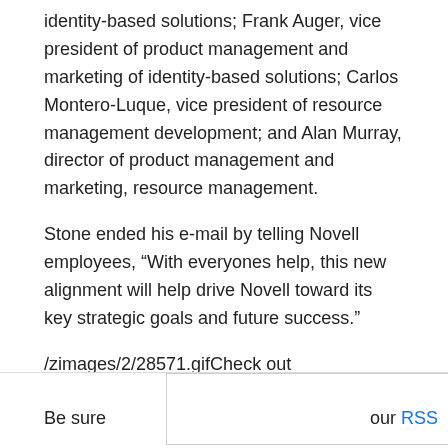identity-based solutions; Frank Auger, vice president of product management and marketing of identity-based solutions; Carlos Montero-Luque, vice president of resource management development; and Alan Murray, director of product management and marketing, resource management.
Stone ended his e-mail by telling Novell employees, “With everyones help, this new alignment will help drive Novell toward its key strategic goals and future success.”
/zimages/2/28571.gifCheck out eWEEK.coms Linux & Open Source Center for the latest open-source news, reviews and analysis.
/zimages/2/77042.gif
Be sure ... our RSS